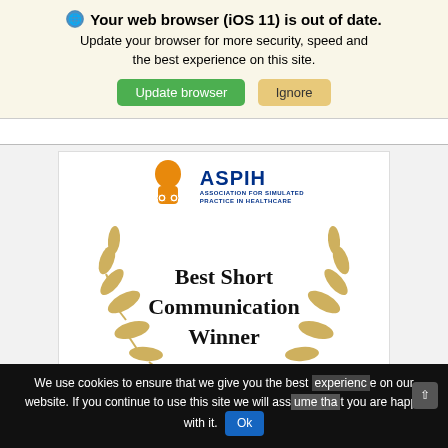Your web browser (iOS 11) is out of date. Update your browser for more security, speed and the best experience on this site.
Update browser   Ignore
[Figure (screenshot): ASPIH (Association for Simulated Practice in Healthcare) award badge with golden laurel wreath and text: Best Short Communication Winner]
Dr MacGloin qualified from Imperial College,
We use cookies to ensure that we give you the best experience on our website. If you continue to use this site we will assume that you are happy with it. Ok